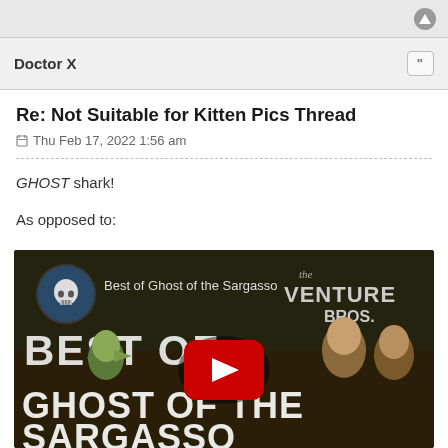Doctor X
Re: Not Suitable for Kitten Pics Thread
Thu Feb 17, 2022 1:56 am
GHOST shark!
As opposed to:
[Figure (screenshot): YouTube video thumbnail showing 'Best of Ghost of the Sargasso' from the Venture Bros., with animated characters and a red YouTube play button overlay.]